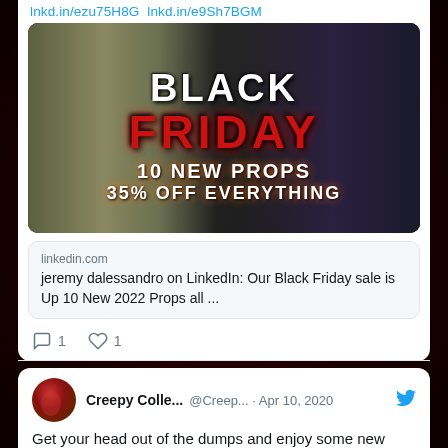lnkd.in/ezu75H8G lnkd.in/e9Sh7BGM
[Figure (photo): Black Friday horror promotional image with zombie face on left and clown on right. Text reads: BLACK FRIDAY 10 NEW PROPS 35% OFF EVERYTHING]
linkedin.com
jeremy dalessandro on LinkedIn: Our Black Friday sale is Up 10 New 2022 Props all ...
1  1
Creepy Colle... @Creep... · Apr 10, 2020 Get your head out of the dumps and enjoy some new looks for 2020...in a few days